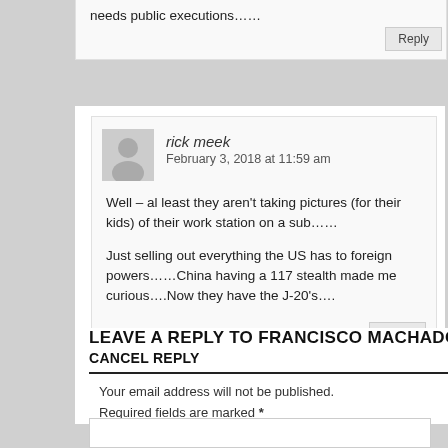needs public executions……
Reply
rick meek
February 3, 2018 at 11:59 am
Well – al least they aren't taking pictures (for their kids) of their work station on a sub……

Just selling out everything the US has to foreign powers……China having a 117 stealth made me curious….Now they have the J-20's….
Reply
LEAVE A REPLY TO FRANCISCO MACHADO
CANCEL REPLY
Your email address will not be published. Required fields are marked *